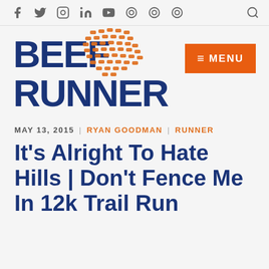Social media icons and search bar
[Figure (logo): Beef Runner logo with orange boot print and dark blue bold text reading BEEF RUNNER]
MENU
MAY 13, 2015 | RYAN GOODMAN | RUNNER
It's Alright To Hate Hills | Don't Fence Me In 12k Trail Run